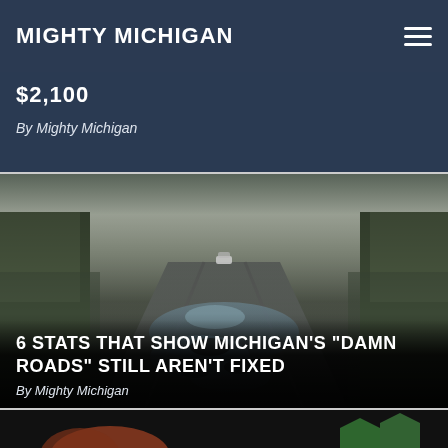MIGHTY MICHIGAN
$2,100
By Mighty Michigan
[Figure (photo): Flooded and pothole-damaged rural Michigan road with water puddles covering the pavement, grassy shoulders, trees in background, a car visible in the far distance.]
6 STATS THAT SHOW MICHIGAN’S “DAMN ROADS” STILL AREN’T FIXED
By Mighty Michigan
[Figure (photo): Partial view of bottom card showing top of a person's head with reddish hair on dark background.]